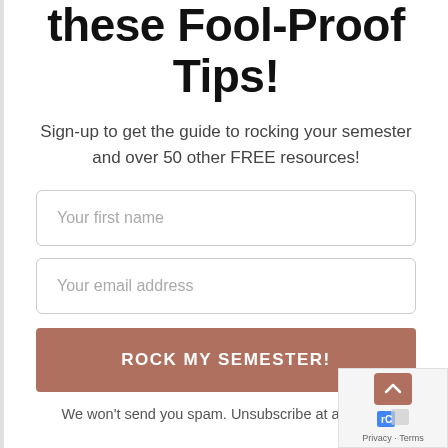these Fool-Proof Tips!
Sign-up to get the guide to rocking your semester and over 50 other FREE resources!
Your first name
Your email address
ROCK MY SEMESTER!
We won't send you spam. Unsubscribe at any time.